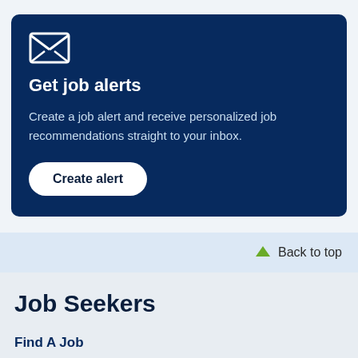[Figure (illustration): Email envelope icon in white on dark blue background]
Get job alerts
Create a job alert and receive personalized job recommendations straight to your inbox.
Create alert
Back to top
Job Seekers
Find A Job